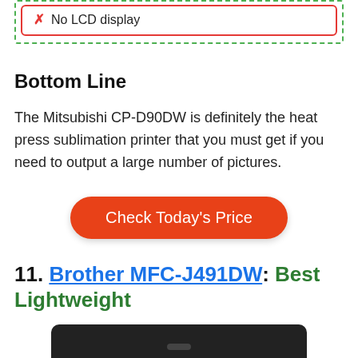No LCD display
Bottom Line
The Mitsubishi CP-D90DW is definitely the heat press sublimation printer that you must get if you need to output a large number of pictures.
Check Today's Price
11. Brother MFC-J491DW: Best Lightweight
[Figure (photo): Photo of the Brother MFC-J491DW printer, showing a dark/black rectangular printer body from above.]